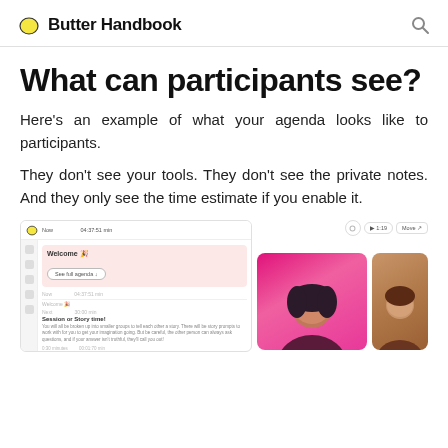Butter Handbook
What can participants see?
Here's an example of what your agenda looks like to participants.
They don't see your tools. They don't see the private notes. And they only see the time estimate if you enable it.
[Figure (screenshot): Screenshot of the Butter app showing the participant view of an agenda, with a welcome section and breakout story time activity. On the right, two participant avatar thumbnails are visible (one with a pink/magenta color scheme and one with a brown/warm color scheme).]